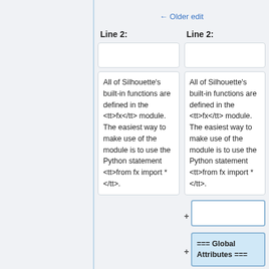← Older edit
Line 2:
Line 2:
All of Silhouette's built-in functions are defined in the <tt>fx</tt> module. The easiest way to make use of the module is to use the Python statement <tt>from fx import *</tt>.
All of Silhouette's built-in functions are defined in the <tt>fx</tt> module. The easiest way to make use of the module is to use the Python statement <tt>from fx import *</tt>.
=== Global Attributes ===